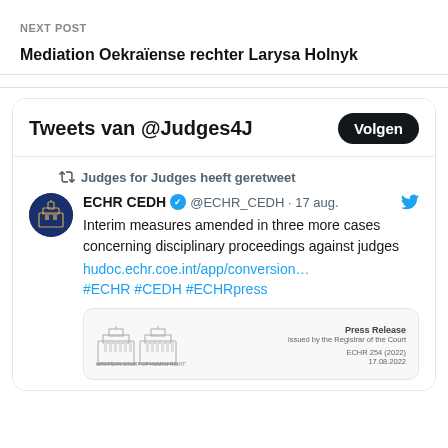NEXT POST
Mediation Oekraïense rechter Larysa Holnyk
[Figure (screenshot): Embedded Twitter/X widget showing tweets from @Judges4J. Contains a retweet by Judges for Judges of an ECHR CEDH tweet dated 17 aug. about interim measures amended in three more cases concerning disciplinary proceedings against judges, with a link to hudoc.echr.coe.int/app/conversion... and hashtags #ECHR #CEDH #ECHRpress. Below the tweet text is a partial preview of a Press Release document issued by the Register of the Court with reference ECHR 254 (2022) and date 17.08.2022. The widget has a header 'Tweets van @Judges4J' and a 'Volgen' (Follow) button.]